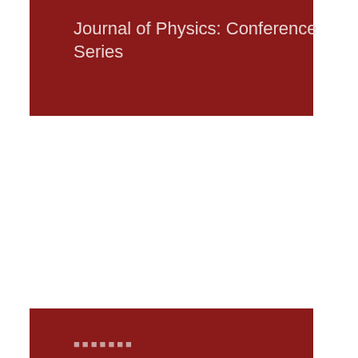Journal of Physics: Conference Series